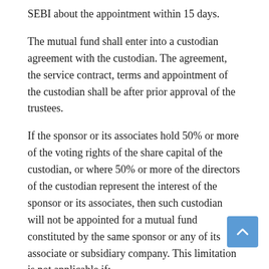SEBI about the appointment within 15 days.
The mutual fund shall enter into a custodian agreement with the custodian. The agreement, the service contract, terms and appointment of the custodian shall be after prior approval of the trustees.
If the sponsor or its associates hold 50% or more of the voting rights of the share capital of the custodian, or where 50% or more of the directors of the custodian represent the interest of the sponsor or its associates, then such custodian will not be appointed for a mutual fund constituted by the same sponsor or any of its associate or subsidiary company. This limitation is not applicable if:
– The sponsor has a net worth of at least 20,000 crore at all times;